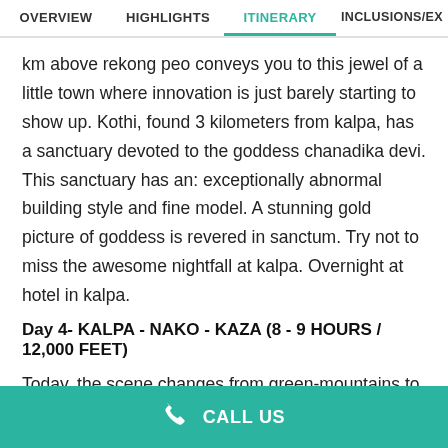OVERVIEW | HIGHLIGHTS | ITINERARY | INCLUSIONS/EX
km above rekong peo conveys you to this jewel of a little town where innovation is just barely starting to show up. Kothi, found 3 kilometers from kalpa, has a sanctuary devoted to the goddess chanadika devi. This sanctuary has an: exceptionally abnormal building style and fine model. A stunning gold picture of goddess is revered in sanctum. Try not to miss the awesome nightfall at kalpa. Overnight at hotel in kalpa.
Day 4- KALPA - NAKO - KAZA (8 - 9 HOURS / 12,000 FEET)
Today, the scene changes from green-mountains to forsake mountains. We proceed with our voyage through kinnaur and
CALL US